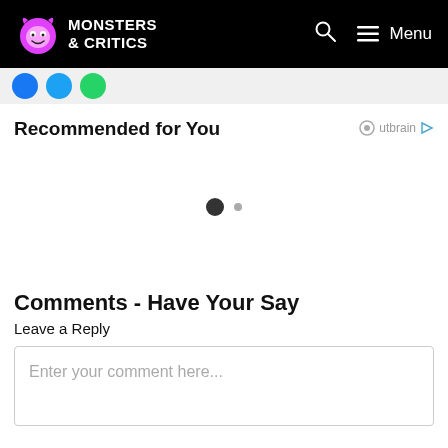Monsters & Critics — Menu
[Figure (logo): Monsters & Critics logo with pink monster icon and white text on black navbar]
Recommended for You
[Figure (other): Loading indicator with two dots (one large dark, one small grey)]
Comments - Have Your Say
Leave a Reply
Enter your comment here...